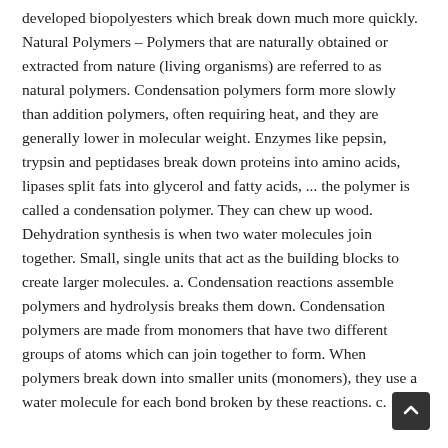developed biopolyesters which break down much more quickly. Natural Polymers – Polymers that are naturally obtained or extracted from nature (living organisms) are referred to as natural polymers. Condensation polymers form more slowly than addition polymers, often requiring heat, and they are generally lower in molecular weight. Enzymes like pepsin, trypsin and peptidases break down proteins into amino acids, lipases split fats into glycerol and fatty acids, ... the polymer is called a condensation polymer. They can chew up wood. Dehydration synthesis is when two water molecules join together. Small, single units that act as the building blocks to create larger molecules. a. Condensation reactions assemble polymers and hydrolysis breaks them down. Condensation polymers are made from monomers that have two different groups of atoms which can join together to form. When polymers break down into smaller units (monomers), they use a water molecule for each bond broken by these reactions. c.